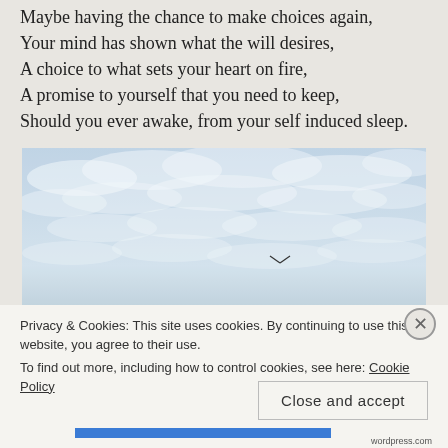Maybe having the chance to make choices again,
Your mind has shown what the will desires,
A choice to what sets your heart on fire,
A promise to yourself that you need to keep,
Should you ever awake, from your self induced sleep.
[Figure (photo): A photograph of a cloudy sky with blue patches and a bird or airplane visible in the distance. A dark horizon line is visible at the bottom of the image.]
Privacy & Cookies: This site uses cookies. By continuing to use this website, you agree to their use.
To find out more, including how to control cookies, see here: Cookie Policy
Close and accept